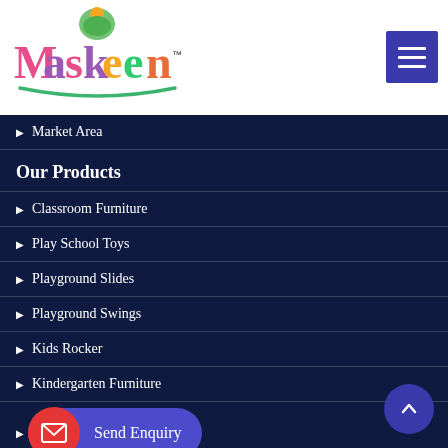Maskeen™ — logo and navigation header
Market Area
Our Products
Classroom Furniture
Play School Toys
Playground Slides
Playground Swings
Kids Rocker
Kindergarten Furniture
Send Enquiry
Kids Table
Kids Chairs (partial)